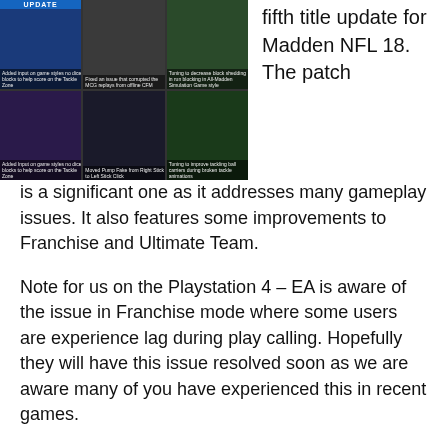[Figure (screenshot): A 2x3 grid of screenshots from Madden NFL 18 title update, with a blue UPDATE banner at the top of the first cell and small captions under each image.]
fifth title update for Madden NFL 18. The patch is a significant one as it addresses many gameplay issues. It also features some improvements to Franchise and Ultimate Team.
Note for us on the Playstation 4 – EA is aware of the issue in Franchise mode where some users are experience lag during play calling. Hopefully they will have this issue resolved soon as we are aware many of you have experienced this in recent games.
Below is the full official list of updates from EA Sports.
Top Updates